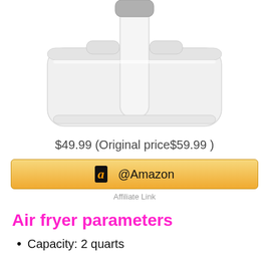[Figure (photo): White air fryer basket/drawer with handle, photographed from front/above on white background.]
$49.99 (Original price$59.99 )
[Figure (other): Amazon affiliate button with Amazon logo 'a' and text '@Amazon']
Affiliate Link
Air fryer parameters
Capacity: 2 quarts